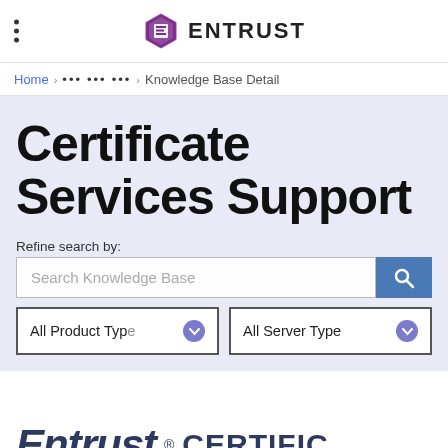[Figure (logo): Entrust logo with hexagon icon and ENTRUST text in nav bar]
Home > ... ... ... > Knowledge Base Detail
Certificate Services Support
Refine search by:
Search Knowledge Base
All Product Type
All Server Type
[Figure (logo): Entrust CERTIFIC... footer logo]